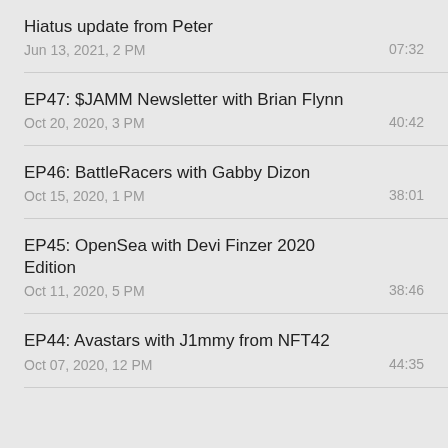Hiatus update from Peter | Jun 13, 2021, 2 PM | 07:32
EP47: $JAMM Newsletter with Brian Flynn | Oct 20, 2020, 3 PM | 40:42
EP46: BattleRacers with Gabby Dizon | Oct 15, 2020, 1 PM | 38:01
EP45: OpenSea with Devi Finzer 2020 Edition | Oct 11, 2020, 5 PM | 38:46
EP44: Avastars with J1mmy from NFT42 | Oct 07, 2020, 12 PM | 44:35